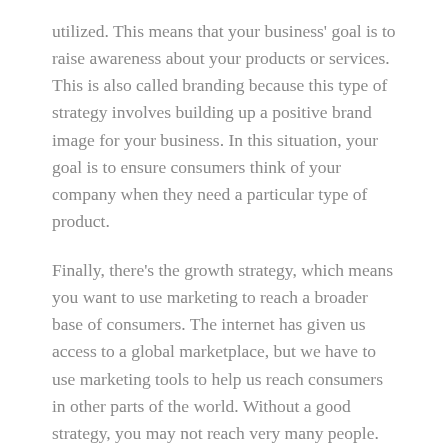utilized. This means that your business' goal is to raise awareness about your products or services. This is also called branding because this type of strategy involves building up a positive brand image for your business. In this situation, your goal is to ensure consumers think of your company when they need a particular type of product.
Finally, there's the growth strategy, which means you want to use marketing to reach a broader base of consumers. The internet has given us access to a global marketplace, but we have to use marketing tools to help us reach consumers in other parts of the world. Without a good strategy, you may not reach very many people.
Once you understand your objectives, you'll find it easier to develop a strategy for meeting those goals. You may make use of free and low-cost options, such as social media marketing, to reach more...